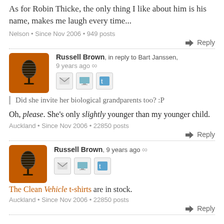As for Robin Thicke, the only thing I like about him is his name, makes me laugh every time...
Nelson • Since Nov 2006 • 949 posts
Reply
Russell Brown, in reply to Bart Janssen, 9 years ago ∞
Did she invite her biological grandparents too? :P
Oh, please. She's only slightly younger than my younger child.
Auckland • Since Nov 2006 • 22850 posts
Reply
Russell Brown, 9 years ago ∞
The Clean Vehicle t-shirts are in stock.
Auckland • Since Nov 2006 • 22850 posts
Reply